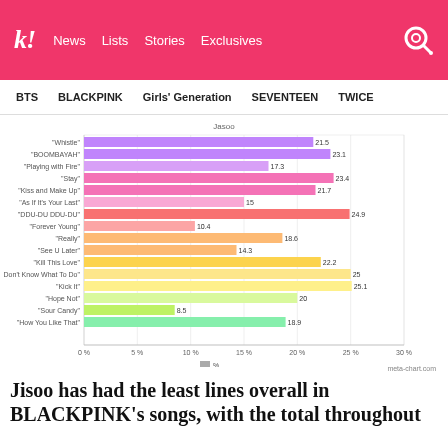Koreaboo — News  Lists  Stories  Exclusives
BTS  BLACKPINK  Girls' Generation  SEVENTEEN  TWICE
[Figure (bar-chart): Jasoo]
meta-chart.com
Jisoo has had the least lines overall in BLACKPINK's songs, with the total throughout